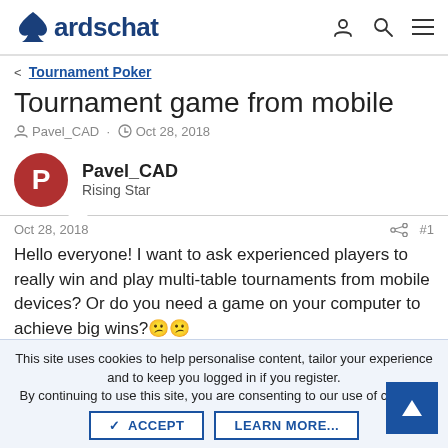cardschat
< Tournament Poker
Tournament game from mobile
Pavel_CAD · Oct 28, 2018
Pavel_CAD
Rising Star
Oct 28, 2018  #1
Hello everyone! I want to ask experienced players to really win and play multi-table tournaments from mobile devices? Or do you need a game on your computer to achieve big wins?
This site uses cookies to help personalise content, tailor your experience and to keep you logged in if you register.
By continuing to use this site, you are consenting to our use of cookies.
ACCEPT  LEARN MORE...